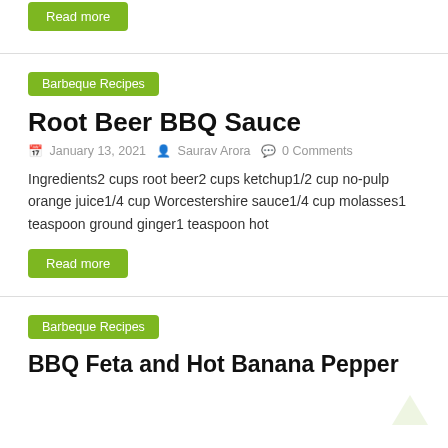Read more
Barbeque Recipes
Root Beer BBQ Sauce
January 13, 2021   Saurav Arora   0 Comments
Ingredients2 cups root beer2 cups ketchup1/2 cup no-pulp orange juice1/4 cup Worcestershire sauce1/4 cup molasses1 teaspoon ground ginger1 teaspoon hot
Read more
Barbeque Recipes
BBQ Feta and Hot Banana Pepper Tzatzar P...